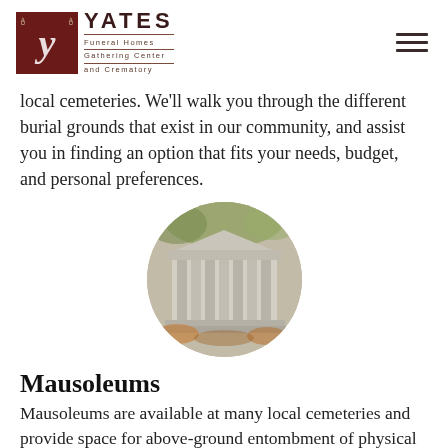YATES Funeral Homes Gathering Center and Crematory
local cemeteries. We'll walk you through the different burial grounds that exist in our community, and assist you in finding an option that fits your needs, budget, and personal preferences.
[Figure (photo): Circular photo of a mausoleum structure with columns, surrounded by autumn foliage]
Mausoleums
Mausoleums are available at many local cemeteries and provide space for above-ground entombment of physical remains within a beautiful structure on cemetery grounds. A family might choose to use their own private